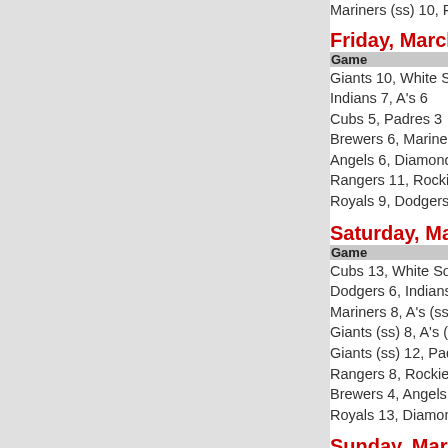Mariners (ss) 10, Padres
Friday, March 20
Game
Giants 10, White Sox 3
Indians 7, A's 6
Cubs 5, Padres 3
Brewers 6, Mariners 5
Angels 6, Diamondbacks
Rangers 11, Rockies 5
Royals 9, Dodgers 4
Saturday, March 21
Game
Cubs 13, White Sox 2
Dodgers 6, Indians 4
Mariners 8, A's (ss) 5
Giants (ss) 8, A's (ss) 4
Giants (ss) 12, Padres 4
Rangers 8, Rockies 4
Brewers 4, Angels 4 (10)
Royals 13, Diamondback
Sunday, March 22
Game
Dodgers 11, Rangers 4
Brewers 10, Giants 9
Cubs 5, Mariners 3
Diamondbacks 12, Padre
White Sox 12, A's 10
Angels 10, Royals 10